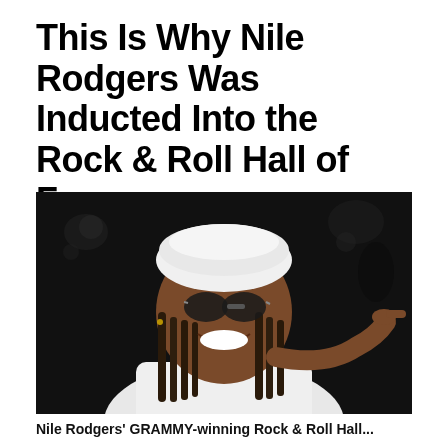This Is Why Nile Rodgers Was Inducted Into the Rock & Roll Hall of Fame
[Figure (photo): A smiling man with long dreadlocks, wearing a white beret, aviator sunglasses, a green bandana around his neck, and a white jacket. He is pointing at the camera with his right hand and laughing. The background is dark/bokeh.]
Nile Rodgers' GRAMMY-winning Rock & Roll Hall...